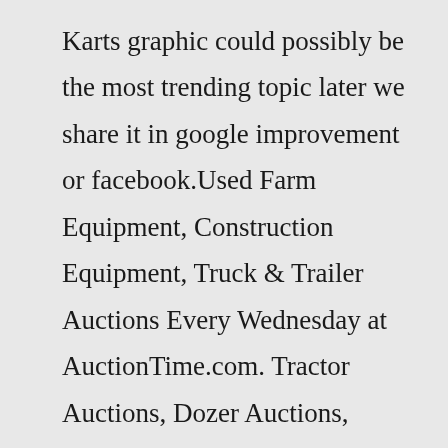Karts graphic could possibly be the most trending topic later we share it in google improvement or facebook.Used Farm Equipment, Construction Equipment, Truck & Trailer Auctions Every Wednesday at AuctionTime.com. Tractor Auctions, Dozer Auctions, Excavator Auctions, Backhoe Auctions, Semi Truck AuctionIBM 3573-8248 LTO5 FC Tape Drive 46X6075 In Tray 00V6733 TS3100 TS3200. $ 1,490.94.